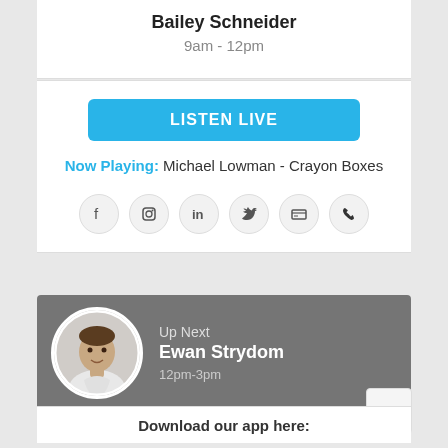Bailey Schneider
9am - 12pm
LISTEN LIVE
Now Playing: Michael Lowman - Crayon Boxes
[Figure (infographic): Row of 6 social media icon circles: Facebook, Instagram, LinkedIn, Twitter, card/ID icon, phone icon]
[Figure (infographic): Up Next card with circular avatar photo of a man, label 'Up Next', name 'Ewan Strydom', time '12pm-3pm']
Download our app here: